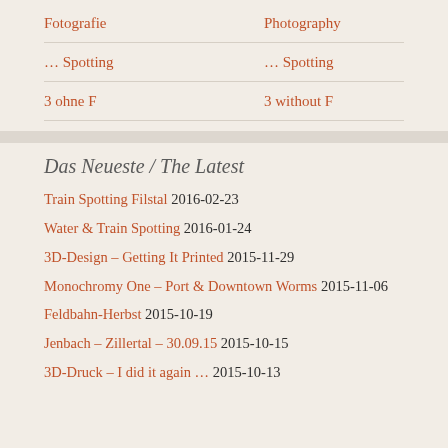Fotografie | Photography
... Spotting | ... Spotting
3 ohne F | 3 without F
Das Neueste / The Latest
Train Spotting Filstal 2016-02-23
Water & Train Spotting 2016-01-24
3D-Design – Getting It Printed 2015-11-29
Monochromy One – Port & Downtown Worms 2015-11-06
Feldbahn-Herbst 2015-10-19
Jenbach – Zillertal – 30.09.15 2015-10-15
3D-Druck – I did it again … 2015-10-13